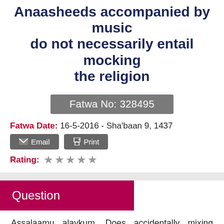Anaasheeds accompanied by music do not necessarily entail mocking the religion
Fatwa No: 328495
Fatwa Date: 16-5-2016 - Sha'baan 9, 1437
Email  Print
Rating:
Question
Assalaamu alaykum. Does accidentally mixing worship and something haram cause disbelief? On this website, www.myreligionislam.com/detail.asp?Aid=6020 item number 37, it is stated, "To perform acts of worship accompanied by music does not